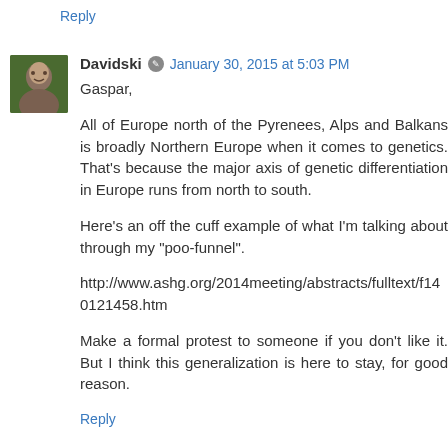Reply
Davidski  January 30, 2015 at 5:03 PM
Gaspar,

All of Europe north of the Pyrenees, Alps and Balkans is broadly Northern Europe when it comes to genetics. That's because the major axis of genetic differentiation in Europe runs from north to south.

Here's an off the cuff example of what I'm talking about through my "poo-funnel".

http://www.ashg.org/2014meeting/abstracts/fulltext/f140121458.htm

Make a formal protest to someone if you don't like it. But I think this generalization is here to stay, for good reason.
Reply